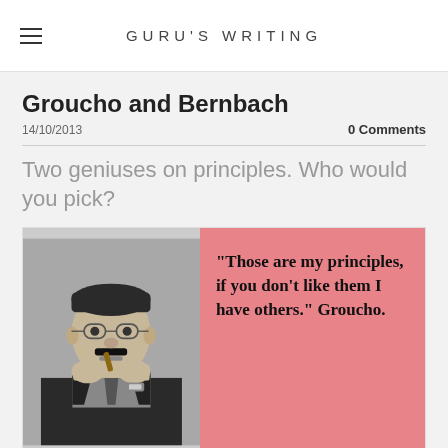GURU'S WRITING
Groucho and Bernbach
14/10/2013    0 Comments
Two geniuses on principles. Who would you pick?
[Figure (photo): Black and white photo of Groucho Marx holding a cigar, posed with hands near face, wearing glasses and his signature greasepaint mustache. Next to the photo is a pink panel with a quote in bold serif font: "Those are my principles, if you don't like them I have others." Groucho.]